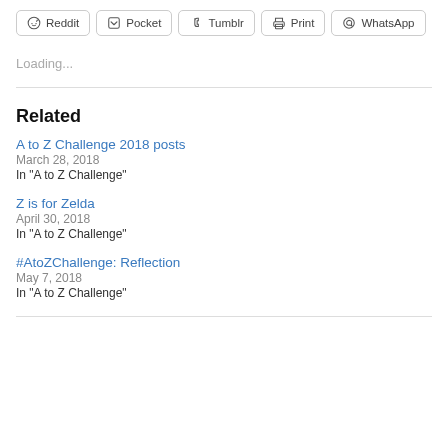Reddit  Pocket  Tumblr  Print  WhatsApp
Loading...
Related
A to Z Challenge 2018 posts
March 28, 2018
In "A to Z Challenge"
Z is for Zelda
April 30, 2018
In "A to Z Challenge"
#AtoZChallenge: Reflection
May 7, 2018
In "A to Z Challenge"